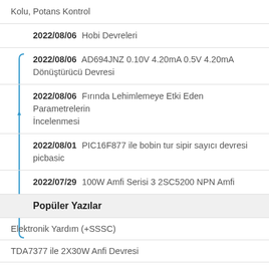Kolu, Potans Kontrol
2022/08/06 Hobi Devreleri
2022/08/06 AD694JNZ 0.10V 4.20mA 0.5V 4.20mA Dönüştürücü Devresi
2022/08/06 Fırında Lehimlemeye Etki Eden Parametrelerin İncelenmesi
2022/08/01 PIC16F877 ile bobin tur sipir sayıcı devresi picbasic
2022/07/29 100W Amfi Serisi 3 2SC5200 NPN Amfi
Popüler Yazılar
Elektronik Yardım (+SSSC)
TDA7377 ile 2X30W Anfi Devresi
TDA7294 Komple 100W Amplifikatör Vu Metro Ton Kontrol